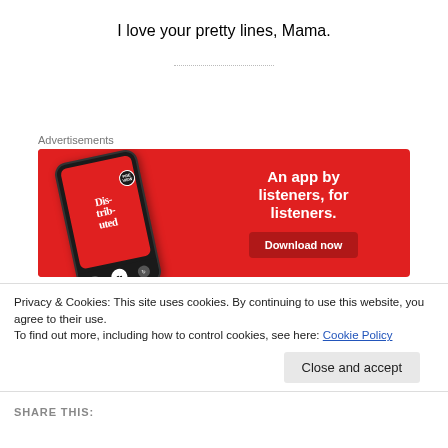I love your pretty lines, Mama.
[Figure (infographic): Advertisement banner for a podcast app. Red background with a smartphone displaying 'Distributed' podcast. Text reads: 'An app by listeners, for listeners.' with a 'Download now' button.]
Privacy & Cookies: This site uses cookies. By continuing to use this website, you agree to their use.
To find out more, including how to control cookies, see here: Cookie Policy
Close and accept
SHARE THIS: